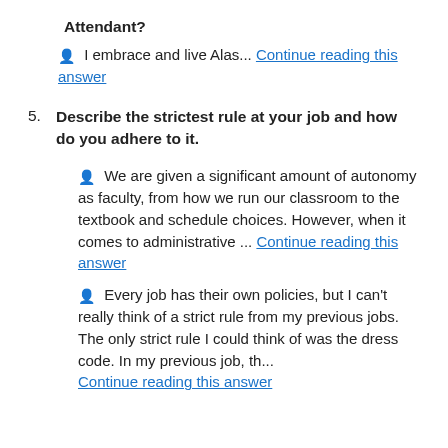Attendant?
I embrace and live Alas... Continue reading this answer
5. Describe the strictest rule at your job and how do you adhere to it.
We are given a significant amount of autonomy as faculty, from how we run our classroom to the textbook and schedule choices. However, when it comes to administrative ... Continue reading this answer
Every job has their own policies, but I can't really think of a strict rule from my previous jobs. The only strict rule I could think of was the dress code. In my previous job, th... Continue reading this answer